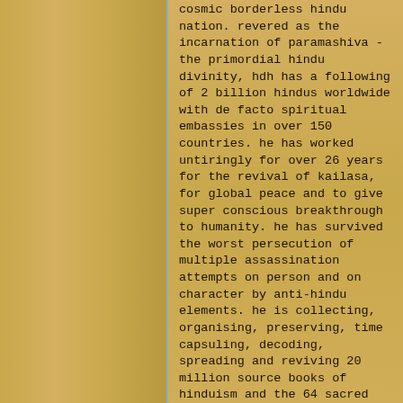cosmic borderless hindu nation. revered as the incarnation of paramashiva - the primordial hindu divinity, hdh has a following of 2 billion hindus worldwide with de facto spiritual embassies in over 150 countries. he has worked untiringly for over 26 years for the revival of kailasa, for global peace and to give super conscious breakthrough to humanity. he has survived the worst persecution of multiple assassination attempts on person and on character by anti-hindu elements. he is collecting, organising, preserving, time capsuling, decoding, spreading and reviving 20 million source books of hinduism and the 64 sacred arts & sciences like ayurveda, music, dance, sculpting, astrology, vastu and much more. close to 20,000 hours of hdh's timeless talks have been recorded till date (sep 2020), which are a treasure trove of powerful cognitions to solve individual and global problems of